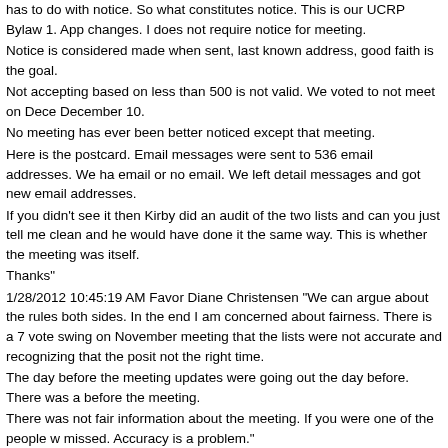has to do with notice. So what constitutes notice. This is our UCRP Bylaw 1. App changes. I does not require notice for meeting.
Notice is considered made when sent, last known address, good faith is the goal.
Not accepting based on less than 500 is not valid. We voted to not meet on Dece December 10.
No meeting has ever been better noticed except that meeting.
Here is the postcard. Email messages were sent to 536 email addresses. We ha email or no email. We left detail messages and got new email addresses.
If you didn't see it then Kirby did an audit of the two lists and can you just tell me clean and he would have done it the same way. This is whether the meeting was itself.
Thanks"
1/28/2012 10:45:19 AM Favor Diane Christensen "We can argue about the rules both sides. In the end I am concerned about fairness. There is a 7 vote swing on November meeting that the lists were not accurate and recognizing that the posit not the right time.
The day before the meeting updates were going out the day before. There was a before the meeting.
There was not fair information about the meeting. If you were one of the people w missed. Accuracy is a problem."
1/28/2012 10:47:31 AM Against Dan Forward PR17 "I have been asked to prese attendance then before this meeting it was the best attended we have had. We c made. Some would say a zealous effort.
We did use the latest lists that was available.
The meeting went very weell. Both sides were heard. We have to stand by the vo